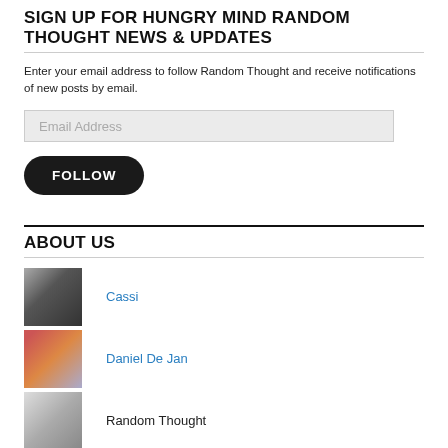SIGN UP FOR HUNGRY MIND RANDOM THOUGHT NEWS & UPDATES
Enter your email address to follow Random Thought and receive notifications of new posts by email.
Email Address
FOLLOW
ABOUT US
Cassi
Daniel De Jan
Random Thought